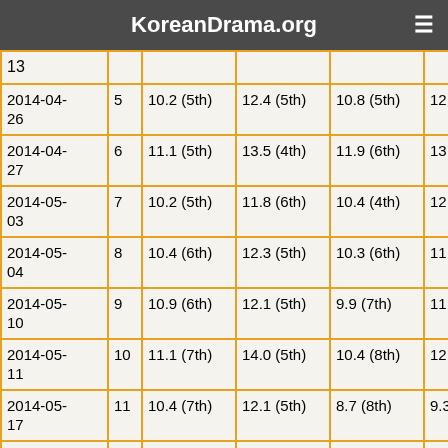KoreanDrama.org
| 13 |  |  |  |  |  |
| 2014-04-26 | 5 | 10.2 (5th) | 12.4 (5th) | 10.8 (5th) | 12.1 (4th) |
| 2014-04-27 | 6 | 11.1 (5th) | 13.5 (4th) | 11.9 (6th) | 13.4 (6th) |
| 2014-05-03 | 7 | 10.2 (5th) | 11.8 (6th) | 10.4 (4th) | 12.1 (4th) |
| 2014-05-04 | 8 | 10.4 (6th) | 12.3 (5th) | 10.3 (6th) | 11.6 (5th) |
| 2014-05-10 | 9 | 10.9 (6th) | 12.1 (5th) | 9.9 (7th) | 11.1 (5th) |
| 2014-05-11 | 10 | 11.1 (7th) | 14.0 (5th) | 10.4 (8th) | 12.0 (7th) |
| 2014-05-17 | 11 | 10.4 (7th) | 12.1 (5th) | 8.7 (8th) | 9.3 (8th) |
| 2014-05-18 | 12 | 9.8 (5th) | 11.4 (7th) | 9.6 (8th) | 10.7 (7th) |